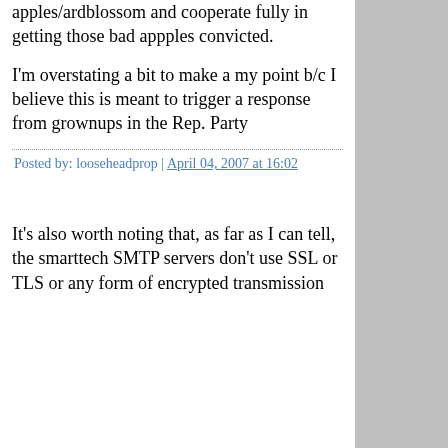apples/ardblossom and cooperate fully in getting those bad appples convicted.
I'm overstating a bit to make a my point b/c I believe this is meant to trigger a response from grownups in the Rep. Party
Posted by: looseheadprop | April 04, 2007 at 16:02
It's also worth noting that, as far as I can tell, the smarttech SMTP servers don't use SSL or TLS or any form of encrypted transmission